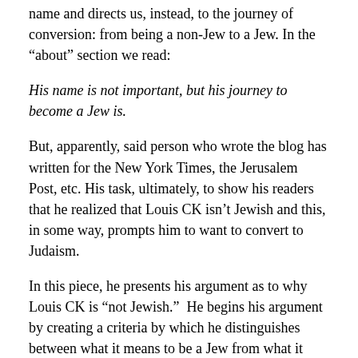name and directs us, instead, to the journey of conversion: from being a non-Jew to a Jew. In the “about” section we read:
His name is not important, but his journey to become a Jew is.
But, apparently, said person who wrote the blog has written for the New York Times, the Jerusalem Post, etc. His task, ultimately, to show his readers that he realized that Louis CK isn’t Jewish and this, in some way, prompts him to want to convert to Judaism.
In this piece, he presents his argument as to why Louis CK is “not Jewish.”  He begins his argument by creating a criteria by which he distinguishes between what it means to be a Jew from what it means to be a non-Jew.  To give authority to his reading, he cites his “friend” (the notorious